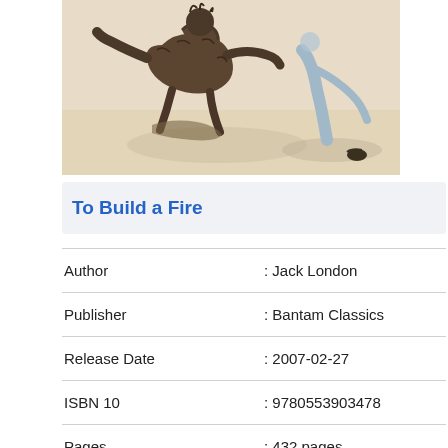[Figure (illustration): Book cover illustration showing a figure (likely a man with a dog) in a winter/snowy scene, painted in a classical style with beige/tan tones. Sky is light with shadows on snow.]
To Build a Fire
| Author | : Jack London |
| Publisher | : Bantam Classics |
| Release Date | : 2007-02-27 |
| ISBN 10 | : 9780553903478 |
| Pages | : 432 pages |